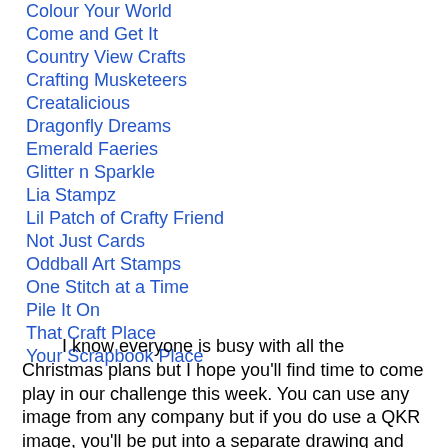Colour Your World
Come and Get It
Country View Crafts
Crafting Musketeers
Creatalicious
Dragonfly Dreams
Emerald Faeries
Glitter n Sparkle
Lia Stampz
Lil Patch of Crafty Friend
Not Just Cards
Oddball Art Stamps
One Stitch at a Time
Pile It On
That Craft Place
Your Scrapbook Place
I know everyone is busy with all the Christmas plans but I hope you'll find time to come play in our challenge this week. You can use any image from any company but if you do use a QKR image, you'll be put into a separate drawing and that increases your chances of winning. :-D Happy Stamping